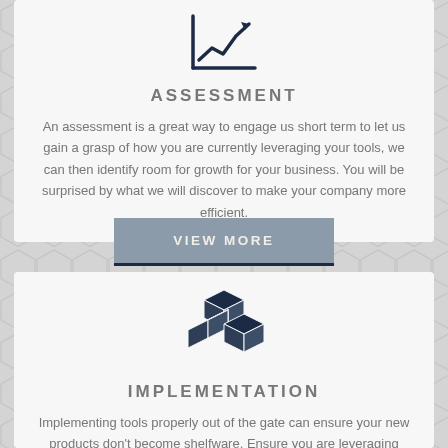[Figure (illustration): Dark navy icon of a line chart with upward trending arrow]
ASSESSMENT
An assessment is a great way to engage us short term to let us gain a grasp of how you are currently leveraging your tools, we can then identify room for growth for your business. You will be surprised by what we will discover to make your company more efficient.
[Figure (illustration): Dark navy icon of stacked 3D cubes/boxes]
IMPLEMENTATION
Implementing tools properly out of the gate can ensure your new products don't become shelfware. Ensure you are leveraging best practices to encourage efficiency in your organization.